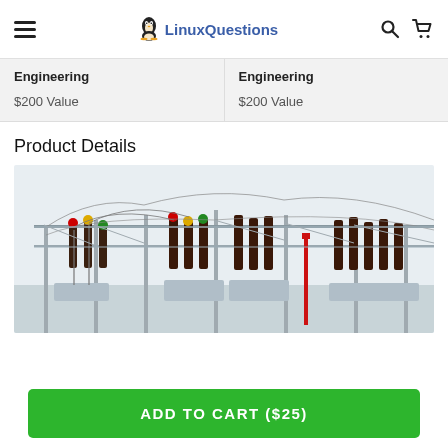LinuxQuestions
Engineering
$200 Value
Engineering
$200 Value
Product Details
[Figure (photo): Electrical power substation with transformers, insulators, and high-voltage equipment on metal frames against a white sky]
ADD TO CART ($25)